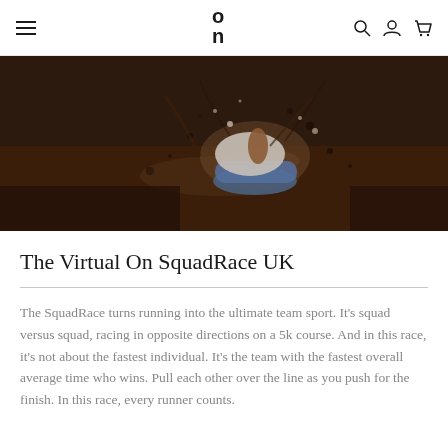On Running navigation bar with hamburger menu, logo, search, account, and cart icons
[Figure (photo): Action shot of a running shoe splashing through muddy water/terrain, close-up ground level view showing the shoe and mud splash]
The Virtual On SquadRace UK
The SquadRace turns running into the ultimate team sport. It's squad versus squad, racing in opposite directions on a 5k course. And in this race, it's not about the fastest individual. It's the team with the fastest overall average time who wins. Pull each other over the line as you push for the finish. In this race, every runner counts.